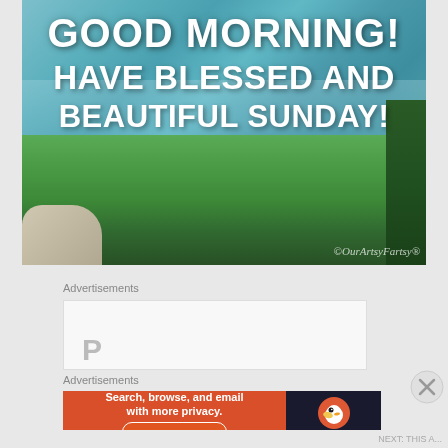[Figure (photo): Scenic nature photo of a turquoise lake with green trees in foreground, overlaid with inspirational text: GOOD MORNING! HAVE BLESSED AND BEAUTIFUL SUNDAY! with watermark OurArtsyFartsy]
Advertisements
[Figure (other): Advertisement box (partially visible)]
Advertisements
[Figure (other): DuckDuckGo advertisement: Search, browse, and email with more privacy. All in One Free App]
NEXT: THIS A...